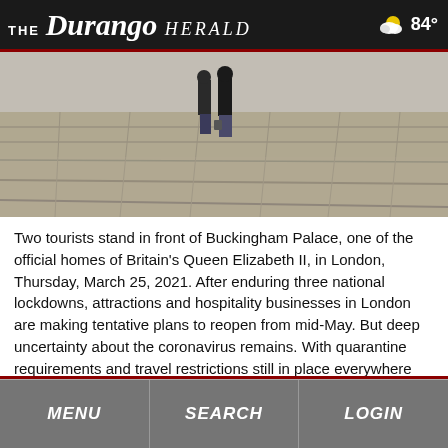THE Durango HERALD  84°
[Figure (photo): Two tourists standing on the stone plaza in front of Buckingham Palace in London, viewed from a distance, on a grey day.]
Two tourists stand in front of Buckingham Palace, one of the official homes of Britain's Queen Elizabeth II, in London, Thursday, March 25, 2021. After enduring three national lockdowns, attractions and hospitality businesses in London are making tentative plans to reopen from mid-May. But deep uncertainty about the coronavirus remains. With quarantine requirements and travel restrictions still in place everywhere and Europe battling a new surge of infections, many are bracing for another bleak year.
Alastair Grant/Associated Press
MENU  SEARCH  LOGIN